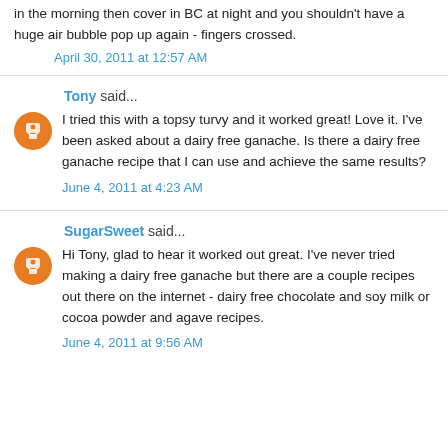in the morning then cover in BC at night and you shouldn't have a huge air bubble pop up again - fingers crossed.
April 30, 2011 at 12:57 AM
Tony said...
I tried this with a topsy turvy and it worked great! Love it. I've been asked about a dairy free ganache. Is there a dairy free ganache recipe that I can use and achieve the same results?
June 4, 2011 at 4:23 AM
SugarSweet said...
Hi Tony, glad to hear it worked out great. I've never tried making a dairy free ganache but there are a couple recipes out there on the internet - dairy free chocolate and soy milk or cocoa powder and agave recipes.
June 4, 2011 at 9:56 AM